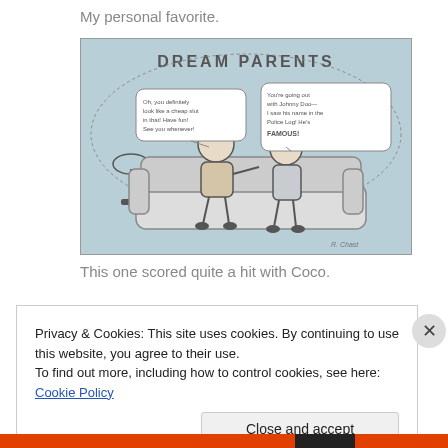My personal favorite.
[Figure (illustration): A cartoon titled 'DREAM PARENTS' showing two adults sitting on a couch. The woman on the left has a speech bubble and the man on the right has a speech bubble. There is a lamp and table to the left. The drawing is in pencil/ink on blue-tinted paper.]
This one scored quite a hit with Coco.
Privacy & Cookies: This site uses cookies. By continuing to use this website, you agree to their use.
To find out more, including how to control cookies, see here: Cookie Policy
Close and accept